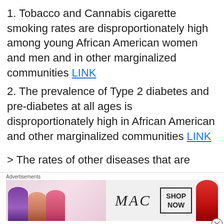1. Tobacco and Cannabis cigarette smoking rates are disproportionately high among young African American women and men and in other marginalized communities LINK
2. The prevalence of Type 2 diabetes and pre-diabetes at all ages is disproportionately high in African American and other marginalized communities LINK
> The rates of other diseases that are
[Figure (other): Advertisement banner for MAC cosmetics showing lipsticks in purple, peach, pink, and red, MAC logo in cursive, and a SHOP NOW button]